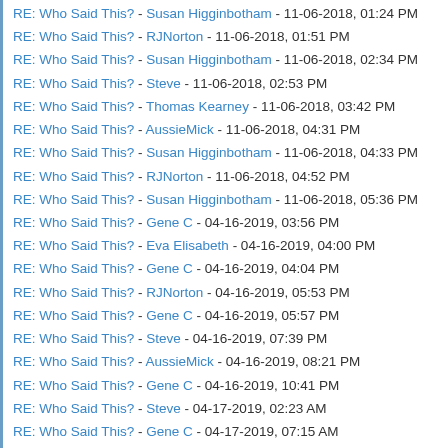RE: Who Said This? - Susan Higginbotham - 11-06-2018, 01:24 PM
RE: Who Said This? - RJNorton - 11-06-2018, 01:51 PM
RE: Who Said This? - Susan Higginbotham - 11-06-2018, 02:34 PM
RE: Who Said This? - Steve - 11-06-2018, 02:53 PM
RE: Who Said This? - Thomas Kearney - 11-06-2018, 03:42 PM
RE: Who Said This? - AussieMick - 11-06-2018, 04:31 PM
RE: Who Said This? - Susan Higginbotham - 11-06-2018, 04:33 PM
RE: Who Said This? - RJNorton - 11-06-2018, 04:52 PM
RE: Who Said This? - Susan Higginbotham - 11-06-2018, 05:36 PM
RE: Who Said This? - Gene C - 04-16-2019, 03:56 PM
RE: Who Said This? - Eva Elisabeth - 04-16-2019, 04:00 PM
RE: Who Said This? - Gene C - 04-16-2019, 04:04 PM
RE: Who Said This? - RJNorton - 04-16-2019, 05:53 PM
RE: Who Said This? - Gene C - 04-16-2019, 05:57 PM
RE: Who Said This? - Steve - 04-16-2019, 07:39 PM
RE: Who Said This? - AussieMick - 04-16-2019, 08:21 PM
RE: Who Said This? - Gene C - 04-16-2019, 10:41 PM
RE: Who Said This? - Steve - 04-17-2019, 02:23 AM
RE: Who Said This? - Gene C - 04-17-2019, 07:15 AM
RE: Who Said This? - Steve - 04-17-2019, 11:22 AM
RE: Who Said This? - AussieMick - 09-26-2019, 06:33 PM
RE: Who Said This? - L Verge - 09-26-2019, 08:20 PM
RE: Who Said This? - AussieMick - 09-26-2019, 09:45 PM
RE: Who Said This? - Rogerm - 09-26-2019, 11:20 PM
RE: Who Said This? - AussieMick - 09-27-2019, 12:41 AM